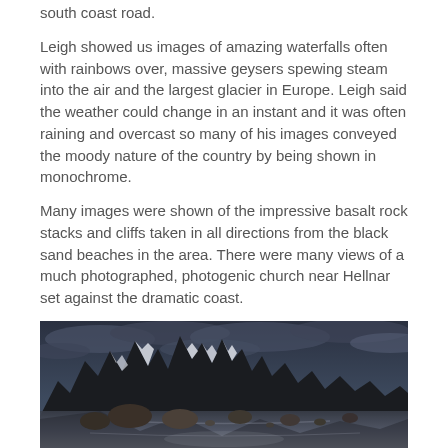south coast road.
Leigh showed us images of amazing waterfalls often with rainbows over, massive geysers spewing steam into the air and the largest glacier in Europe. Leigh said the weather could change in an instant and it was often raining and overcast so many of his images conveyed the moody nature of the country by being shown in monochrome.
Many images were shown of the impressive basalt rock stacks and cliffs taken in all directions from the black sand beaches in the area. There were many views of a much photographed, photogenic church near Hellnar set against the dramatic coast.
[Figure (photo): A dramatic moody black and white style photograph of jagged mountain peaks with snow, reflected in wet black sand beach with large rocks in the foreground and dark cloudy sky above.]
As the glaciers reach the coast large chunks of